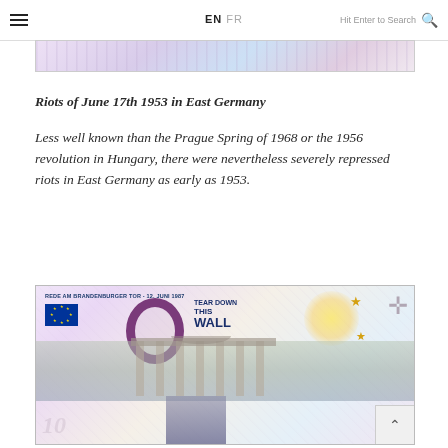≡  EN FR  Hit Enter to Search 🔍
[Figure (photo): Partial view of a banknote or currency-related image at the top, cropped]
Riots of June 17th 1953 in East Germany
Less well known than the Prague Spring of 1968 or the 1956 revolution in Hungary, there were nevertheless severely repressed riots in East Germany as early as 1953.
[Figure (photo): Zero euro souvenir banknote reading 'REDE AM BRANDENBURGER TOR - 12. JUNI 1987' with text 'TEAR DOWN THIS WALL', featuring EU flag, Brandenburg Gate, and a figure presumed to be Reagan]